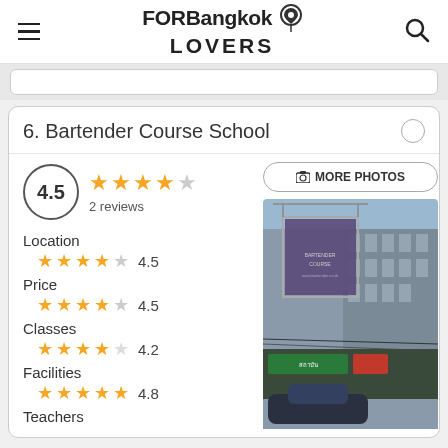FORBangkok LOVERS
6. Bartender Course School
4.5 — 2 reviews
Location — 4.5 stars — 4.5
Price — 4.5 stars — 4.5
Classes — 4.2 stars — 4.2
Facilities — 4.8 stars — 4.8
Teachers
[Figure (photo): Exterior photo of Bartender Course School building with banner sign]